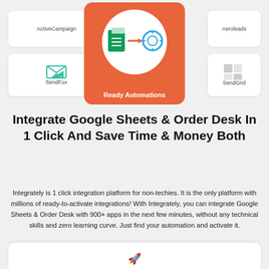[Figure (screenshot): Top banner showing integration cards: ActiveCampaign on the left, Ready Automations center card (orange background with Google Sheets and Order Desk icons), Aeroleads top right, SendFox bottom left, SendGrid bottom right]
Integrate Google Sheets & Order Desk In 1 Click And Save Time & Money Both
Integrately is 1 click integration platform for non-techies. It is the only platform with millions of ready-to-activate integrations! With Integrately, you can integrate Google Sheets & Order Desk with 900+ apps in the next few minutes, without any technical skills and zero learning curve. Just find your automation and activate it.
[Figure (screenshot): Bottom white card partially visible at the bottom of the page]